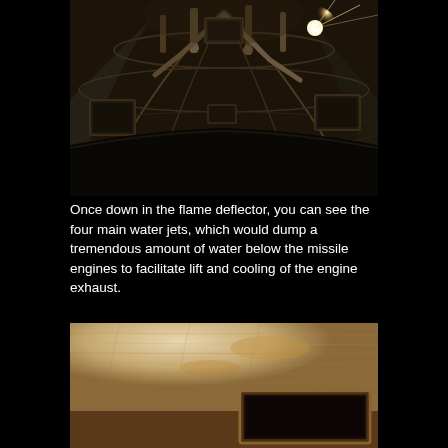[Figure (photo): Wide-angle fisheye interior view looking up inside a flame deflector chamber with industrial pipes, metal framework, structural supports, and a bright light source in the upper right corner. Dark industrial setting with metal walls and equipment visible.]
Once down in the flame deflector, you can see the four main water jets, which would dump a tremendous amount of water below the missile engines to facilitate lift and cooling of the engine exhaust.
[Figure (photo): Close-up view of the interior of the flame deflector showing a beige/cream textured ceiling or wall surface with a rectangular dark opening or hatch visible in the lower right area. The surface appears to have a fibrous or insulated texture.]